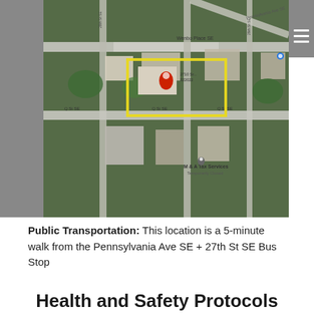[Figure (map): Aerial/satellite map view showing location near Pennsylvania Ave SE and Q St SE, with a yellow highlighted rectangle around a building and a red map pin marker. Shows M & A Tax Services label and surrounding streets.]
Public Transportation: This location is a 5-minute walk from the Pennsylvania Ave SE + 27th St SE Bus Stop
Health and Safety Protocols
Due to the ongoing effects of COVID-19, all participants are expected to adhere to WABA's health and safety guidelines for in-person events:
Participants should not attend in-person events if